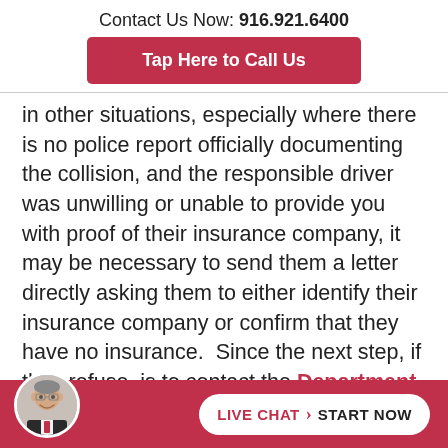Contact Us Now: 916.921.6400
Tap Here to Call Us
in other situations, especially where there is no police report officially documenting the collision, and the responsible driver was unwilling or unable to provide you with proof of their insurance company, it may be necessary to send them a letter directly asking them to either identify their insurance company or confirm that they have no insurance.  Since the next step, if they refuse, is to contact the Department of Motor Vehicles directly, and since putting the DMV on n... cha...
LIVE CHAT › START NOW